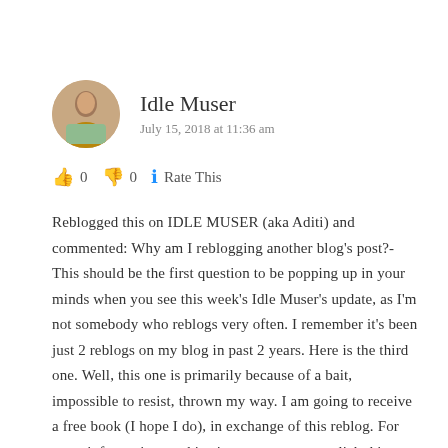Idle Muser
July 15, 2018 at 11:36 am
👍 0 👎 0 ℹ Rate This
Reblogged this on IDLE MUSER (aka Aditi) and commented: Why am I reblogging another blog's post?- This should be the first question to be popping up in your minds when you see this week's Idle Muser's update, as I'm not somebody who reblogs very often. I remember it's been just 2 reblogs on my blog in past 2 years. Here is the third one. Well, this one is primarily because of a bait, impossible to resist, thrown my way. I am going to receive a free book (I hope I do), in exchange of this reblog. For more information on this giveaway, you may click this link-